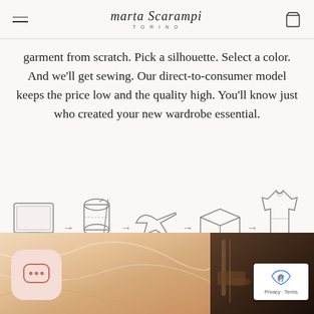marta Scarampi TORINO
garment from scratch. Pick a silhouette. Select a color. And we'll get sewing. Our direct-to-consumer model keeps the price low and the quality high. You'll know just who created your new wardrobe essential.
[Figure (infographic): Process flow icons showing: computer monitor → spool of thread → airplane → open box with M logo → garment/coat, connected by arrows]
[Figure (photo): Bottom section showing satin fabric folds on left and close-up of sewing machine on right, with chat widget and reCAPTCHA badge overlaid]